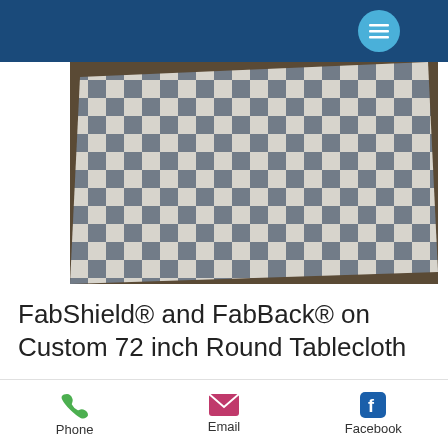[Figure (photo): Gray and white buffalo check / gingham patterned tablecloth laid flat on a wooden surface, photographed from above at an angle]
FabShield® and FabBack® on Custom 72 inch Round Tablecloth
We often receive projects from interior designers requesting FabShield® (lamination) and FabBack® (knit backing). The knit backing
Phone   Email   Facebook